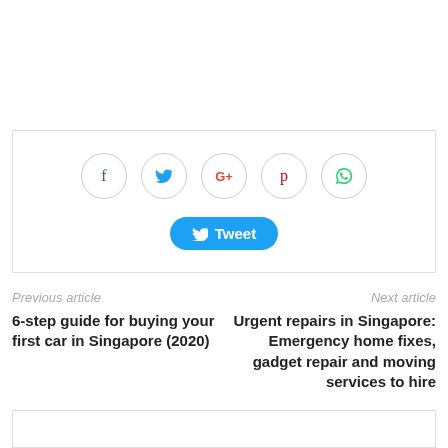[Figure (infographic): Social share bar with Facebook, Twitter, Google+, Pinterest, WhatsApp icon buttons and a Tweet button]
Previous article
6-step guide for buying your first car in Singapore (2020)
Next article
Urgent repairs in Singapore: Emergency home fixes, gadget repair and moving services to hire